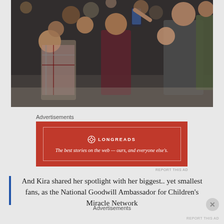[Figure (photo): Group of people taking a selfie at an event, including someone in military camouflage uniform and others in casual clothing, crowded together smiling]
Advertisements
[Figure (infographic): Longreads advertisement banner with red background and text: 'The best stories on the web — ours, and everyone else's.']
And Kira shared her spotlight with her biggest.. yet smallest fans, as the National Goodwill Ambassador for Children's Miracle Network
Advertisements